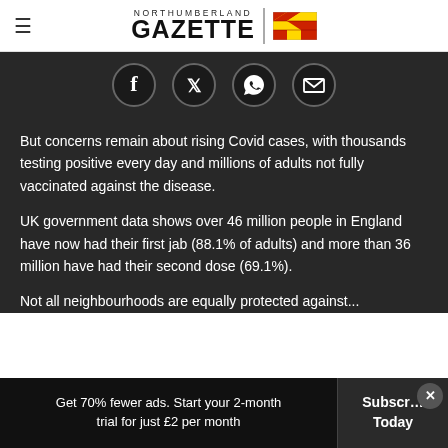Northumberland Gazette
[Figure (other): Social sharing icons: Facebook, Twitter, WhatsApp, Email]
But concerns remain about rising Covid cases, with thousands testing positive every day and millions of adults not fully vaccinated against the disease.
UK government data shows over 46 million people in England have now had their first jab (88.1% of adults) and more than 36 million have had their second dose (69.1%).
Not all neighbourhoods are equally protected against...
Get 70% fewer ads. Start your 2-month trial for just £2 per month | Subscribe Today